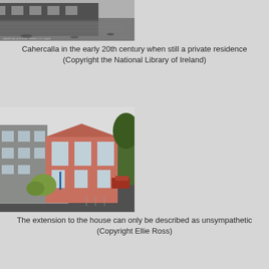[Figure (photo): Black and white photograph of Cahercalla house reflected in water, early 20th century]
Cahercalla in the early 20th century when still a private residence
(Copyright the National Library of Ireland)
[Figure (photo): Colour photograph of Cahercalla house with an unsympathetic modern extension on the left, pink original house on the right, and trees in the background]
The extension to the house can only be described as unsympathetic
(Copyright Ellie Ross)